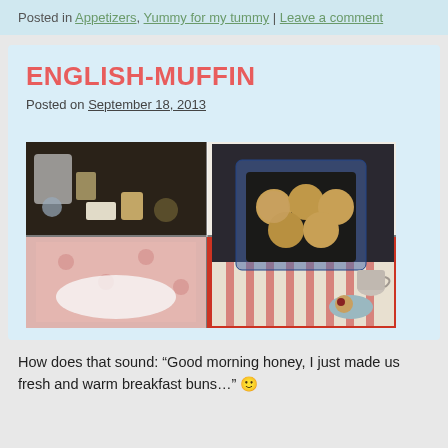Posted in Appetizers, Yummy for my tummy | Leave a comment
ENGLISH-MUFFIN
Posted on September 18, 2013
[Figure (photo): Collage of four photos showing English muffin preparation: top-left ingredients on dark surface, top-right hand kneading dough in bowl, bottom-left dough covered with cloth, bottom-right raw muffins in red baking tin; and a large right photo of finished muffins in a blue gingham lined basket with a coffee mug and a muffin with jam on a plate.]
How does that sound: “Good morning honey, I just made us fresh and warm breakfast buns…” 🙂